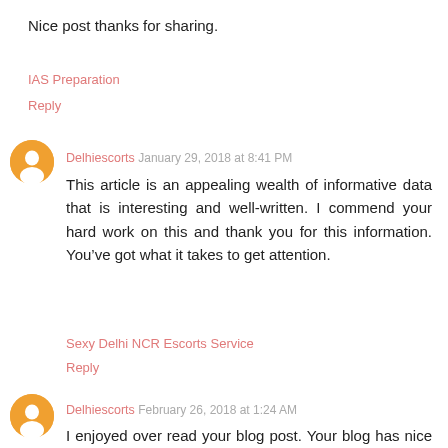Nice post thanks for sharing.
IAS Preparation
Reply
Delhiescorts January 29, 2018 at 8:41 PM
This article is an appealing wealth of informative data that is interesting and well-written. I commend your hard work on this and thank you for this information. You’ve got what it takes to get attention.
Sexy Delhi NCR Escorts Service
Reply
Delhiescorts February 26, 2018 at 1:24 AM
I enjoyed over read your blog post. Your blog has nice information, I got good ideas from this amazing blog. I am always searching for this type blog post.